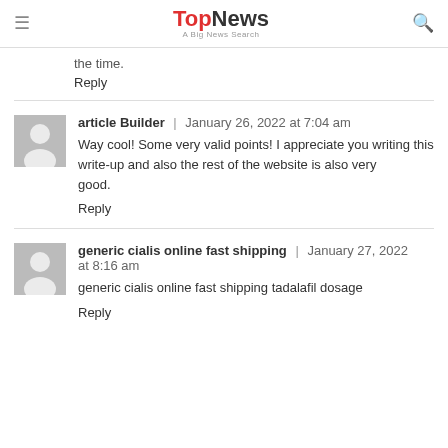TopNews — A Big News Search
the time.
Reply
article Builder | January 26, 2022 at 7:04 am
Way cool! Some very valid points! I appreciate you writing this write-up and also the rest of the website is also very good.
Reply
generic cialis online fast shipping | January 27, 2022 at 8:16 am
generic cialis online fast shipping tadalafil dosage
Reply